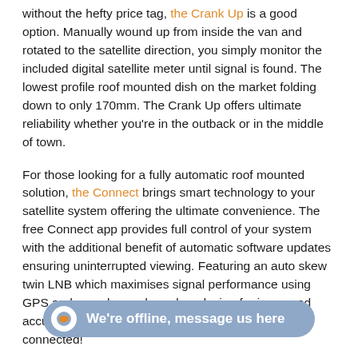without the hefty price tag, the Crank Up is a good option. Manually wound up from inside the van and rotated to the satellite direction, you simply monitor the included digital satellite meter until signal is found. The lowest profile roof mounted dish on the market folding down to only 170mm. The Crank Up offers ultimate reliability whether you're in the outback or in the middle of town.
For those looking for a fully automatic roof mounted solution, the Connect brings smart technology to your satellite system offering the ultimate convenience. The free Connect app provides full control of your system with the additional benefit of automatic software updates ensuring uninterrupted viewing. Featuring an auto skew twin LNB which maximises signal performance using GPS and an enhanced gearbox design for increased accuracy and reliably, the Connect ensures you stay connected!
All of these UK designed and made, quality satellite systems are now in stock and available on our SatPlus website so check them out!